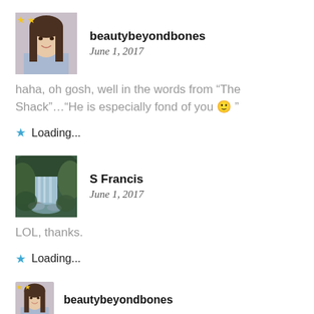[Figure (photo): Avatar photo of beautybeyondbones, a woman with long brown hair, smiling, with yellow star icons overlaid top-left]
beautybeyondbones
June 1, 2017
haha, oh gosh, well in the words from “The Shack”…“He is especially fond of you 🙂 ”
★ Loading...
[Figure (photo): Avatar photo of S Francis showing a waterfall in a forested setting]
S Francis
June 1, 2017
LOL, thanks.
★ Loading...
[Figure (photo): Partial avatar photo of beautybeyondbones at bottom of page]
beautybeyondbones